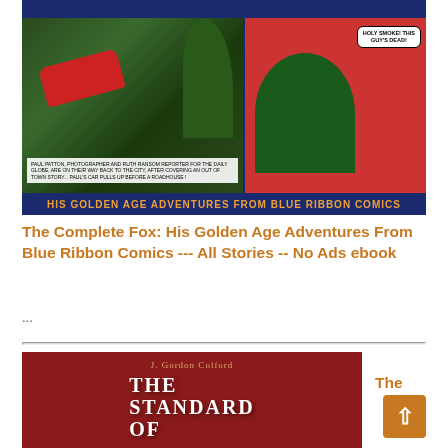[Figure (illustration): Comic book cover art showing two panels: left panel has a green forest scene with a red car crashed into trees and a text caption box; right panel shows a red background with a man in a green hat and a speech bubble saying 'HOLY SMOKE! THIS GUY'S DEAD!' Below both panels is yellow text reading 'HIS GOLDEN AGE ADVENTURES FROM BLUE RIBBON COMICS' on a dark navy background.]
The Complete Fox: His Golden Age Adventures From Blue Ribbon Comics --- All Stories -- No Ads ebook
...
[Figure (illustration): Book cover with red background showing author name 'J. Gordon Colford' and title beginning 'THE STANDARD OF' in large white serif letters.]
The